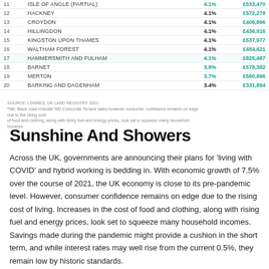| # | Area | Rate | Price |
| --- | --- | --- | --- |
| 11 | ISLE OF ANGLE (partial) | 4.1% | £533,470 |
| 12 | HACKNEY | 4.1% | £572,278 |
| 13 | CROYDON | 4.1% | £406,896 |
| 14 | HILLINGDON | 4.1% | £436,916 |
| 15 | KINGSTON UPON THAMES | 4.1% | £537,977 |
| 16 | WALTHAM FOREST | 4.1% | £484,621 |
| 17 | HAMMERSMITH AND FULHAM | 4.1% | £825,487 |
| 18 | BARNET | 3.8% | £578,382 |
| 19 | MERTON | 3.7% | £580,896 |
| 20 | BARKING AND DAGENHAM | 3.4% | £331,894 |
SOURCE: LONRES, UK LAND REGISTRY 2011
*NB: Black rows indicate 500 Concordia Terrace sales however consumer confidence remains on edge due to the rising cost of food and clothing, along with rising fuel and energy prices, look set to squeeze many household incomes.
Sunshine And Showers
Across the UK, governments are announcing their plans for 'living with COVID' and hybrid working is bedding in. With economic growth of 7.5% over the course of 2021, the UK economy is close to its pre-pandemic level. However, consumer confidence remains on edge due to the rising cost of living. Increases in the cost of food and clothing, along with rising fuel and energy prices, look set to squeeze many household incomes. Savings made during the pandemic might provide a cushion in the short term, and while interest rates may well rise from the current 0.5%, they remain low by historic standards.